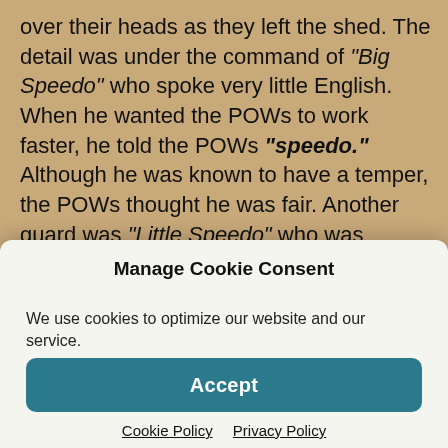over their heads as they left the shed. The detail was under the command of "Big Speedo" who spoke very little English. When he wanted the POWs to work faster, he told the POWs "speedo." Although he was known to have a temper, the POWs thought he was fair. Another guard was "Little Speedo" who was smaller and also used "speedo" when he wanted the POWs to work faster. He punished the POWs by making them kneel on stones. "Smiley" was a Korean guard who always had a smile on his face but could not be trusted. He was the meanest of the guards and beat men up for no reason. He
Manage Cookie Consent
We use cookies to optimize our website and our service.
Accept
Cookie Policy   Privacy Policy